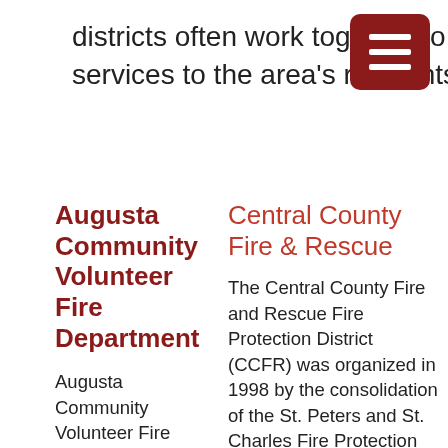districts often work together to provide emergency services to the area's residents.
[Figure (other): Dark red rounded square menu/hamburger icon with three white horizontal bars]
Augusta Community Volunteer Fire Department
Augusta Community Volunteer Fire Department proudly protects 1800 people living in an area of 77 square miles. We operate out of 2 stations that
Central County Fire & Rescue
The Central County Fire and Rescue Fire Protection District (CCFR) was organized in 1998 by the consolidation of the St. Peters and St. Charles Fire Protection Districts,